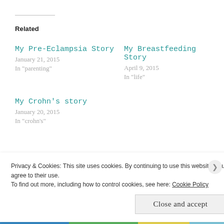Related
My Pre-Eclampsia Story
January 21, 2015
In "parenting"
My Breastfeeding Story
April 9, 2015
In "life"
My Crohn's story
January 20, 2015
In "crohn's"
POSTED IN CROHN'S, LIFE, MOTHERHOOD, PRE-ECLAMPSIA, PREGNANCY
FEAR   LIFE TO THE FULL   PRE-ECLAMPSIA
Privacy & Cookies: This site uses cookies. By continuing to use this website, you agree to their use.
To find out more, including how to control cookies, see here: Cookie Policy
Close and accept